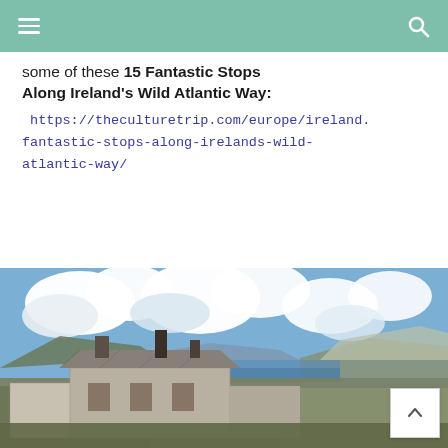Navigation bar with hamburger menu and search icon
some of these 15 Fantastic Stops Along Ireland's Wild Atlantic Way:
https://theculturetrip.com/europe/ireland.fantastic-stops-along-irelands-wild-atlantic-way/
[Figure (photo): Photograph of a ruined stone cottage with chimneys in the foreground, with hills, a bay, and dramatic cloudy sky in the background, along Ireland's Wild Atlantic Way.]